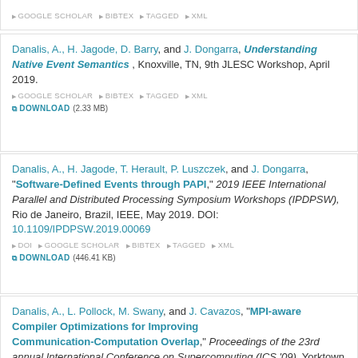GOOGLE SCHOLAR  BIBTEX  TAGGED  XML  DOWNLOAD (2.33 MB)
Danalis, A., H. Jagode, D. Barry, and J. Dongarra, Understanding Native Event Semantics, Knoxville, TN, 9th JLESC Workshop, April 2019. GOOGLE SCHOLAR  BIBTEX  TAGGED  XML  DOWNLOAD (2.33 MB)
Danalis, A., H. Jagode, T. Herault, P. Luszczek, and J. Dongarra, "Software-Defined Events through PAPI," 2019 IEEE International Parallel and Distributed Processing Symposium Workshops (IPDPSW), Rio de Janeiro, Brazil, IEEE, May 2019. DOI: 10.1109/IPDPSW.2019.00069  DOI  GOOGLE SCHOLAR  BIBTEX  TAGGED  XML  DOWNLOAD (446.41 KB)
Danalis, A., L. Pollock, M. Swany, and J. Cavazos, "MPI-aware Compiler Optimizations for Improving Communication-Computation Overlap," Proceedings of the 23rd annual International Conference on Supercomputing (ICS '09), Yorktown Heights, NY, USA, ACM, pp. 316-325, June 2009. GOOGLE SCHOLAR  BIBTEX  TAGGED  XML  DOWNLOAD (308.92 KB)